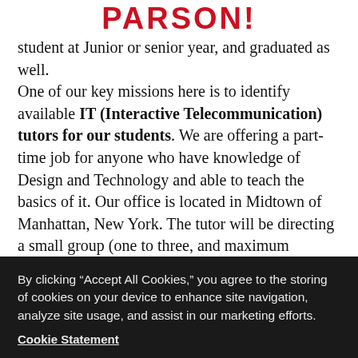PARSON!
student at Junior or senior year, and graduated as well.

One of our key missions here is to identify available IT (Interactive Telecommunication) tutors for our students. We are offering a part-time job for anyone who have knowledge of Design and Technology and able to teach the basics of it. Our office is located in Midtown of Manhattan, New York. The tutor will be directing a small group (one to three, and maximum number of five) for 12 SESSIONS (2 HOURS/PER SESSION). Working
By clicking “Accept All Cookies,” you agree to the storing of cookies on your device to enhance site navigation, analyze site usage, and assist in our marketing efforts.
Cookie Statement